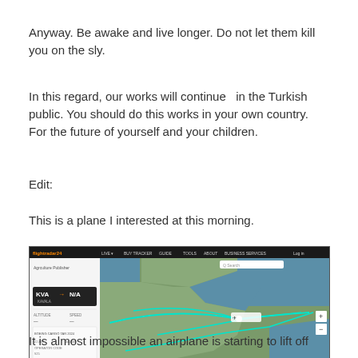Anyway. Be awake and live longer. Do not let them kill you on the sly.
In this regard, our works will continue  in the Turkish public. You should do this works in your own country. For the future of yourself and your children.
Edit:
This is a plane I interested at this morning.
[Figure (screenshot): Screenshot of Flightradar24 flight tracking application showing a map of Turkey and surrounding regions with flight paths drawn in teal/cyan lines. Left panel shows flight info panel with KVA -> N/A route details.]
It is almost impossible an airplane is starting to lift off